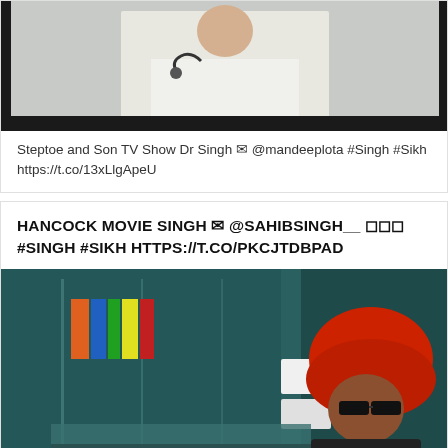[Figure (photo): Top portion of a TV screenshot showing a person in a white doctor's coat holding a stethoscope]
Steptoe and Son TV Show Dr Singh ✉ @mandeeplota #Singh #Sikh https://t.co/13xLlgApeU
HANCOCK MOVIE SINGH ✉ @SAHIBSINGH__ ◻◻◻ #SINGH #SIKH HTTPS://T.CO/PKCJTDBPAD
[Figure (photo): Photo of a Sikh man wearing a red turban and sunglasses, viewed through glass in what appears to be a store or shop with shelves of products]